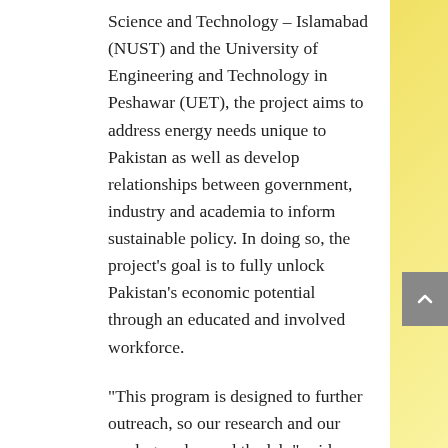Science and Technology – Islamabad (NUST) and the University of Engineering and Technology in Peshawar (UET), the project aims to address energy needs unique to Pakistan as well as develop relationships between government, industry and academia to inform sustainable policy. In doing so, the project's goal is to fully unlock Pakistan's economic potential through an educated and involved workforce.
“This program is designed to further outreach, so our research and our work goes beyond the lab,” said Sayfe Kiaei, director of USPCAS-E and a professor of electrical engineering in the Ira A. Fulton Schools of Engineering. “We’re looking at affecting positive change in the world through engineering.”